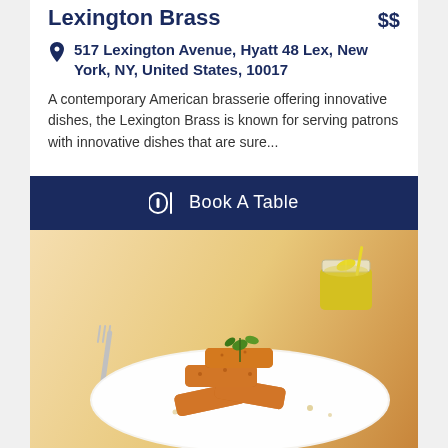Lexington Brass  $$
517 Lexington Avenue, Hyatt 48 Lex, New York, NY, United States, 10017
A contemporary American brasserie offering innovative dishes, the Lexington Brass is known for serving patrons with innovative dishes that are sure...
Book A Table
[Figure (photo): Photo of fried fish sticks plated on a white round plate with herbs on top, alongside a yellow dipping sauce cup with a lemon wedge, and a fork on the left side. Warm beige background.]